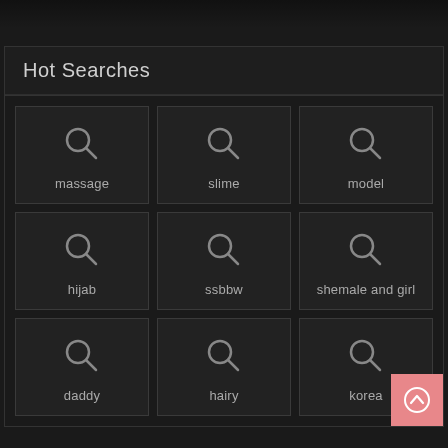Hot Searches
massage
slime
model
hijab
ssbbw
shemale and girl
daddy
hairy
korea